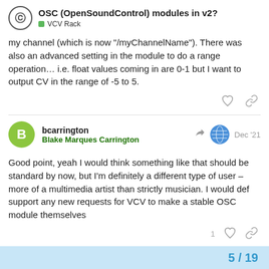OSC (OpenSoundControl) modules in v2? — VCV Rack
my channel (which is now "/myChannelName"). There was also an advanced setting in the module to do a range operation… i.e. float values coming in are 0-1 but I want to output CV in the range of -5 to 5.
bcarrington
Blake Marques Carrington
Dec '21
Good point, yeah I would think something like that should be standard by now, but I'm definitely a different type of user – more of a multimedia artist than strictly musician. I would def support any new requests for VCV to make a stable OSC module themselves
5 / 19